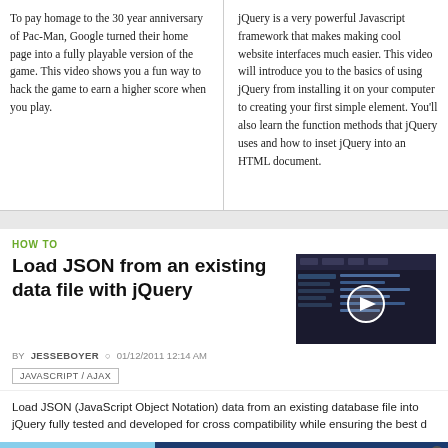To pay homage to the 30 year anniversary of Pac-Man, Google turned their home page into a fully playable version of the game. This video shows you a fun way to hack the game to earn a higher score when you play.
jQuery is a very powerful Javascript framework that makes making cool website interfaces much easier. This video will introduce you to the basics of using jQuery from installing it on your computer to creating your first simple element. You'll also learn the function methods that jQuery uses and how to inset jQuery into an HTML document.
HOW TO
Load JSON from an existing data file with jQuery
[Figure (screenshot): Screenshot thumbnail of a video player showing a dark code editor interface with a white play button circle overlay]
BY JESSEBOYER  01/12/2011 12:14 AM
JAVASCRIPT / AJAX
Load JSON (JavaScript Object Notation) data from an existing database file into jQuery fully tested and developed for cross compatibility while ensuring the best d
[Figure (photo): Petco advertisement banner: blue background with image of woman with dog and supplement products, text BUY ONE GET ONE 50% OFF, SHOP NOW button, help support your dog's joints with a premium supplement.]